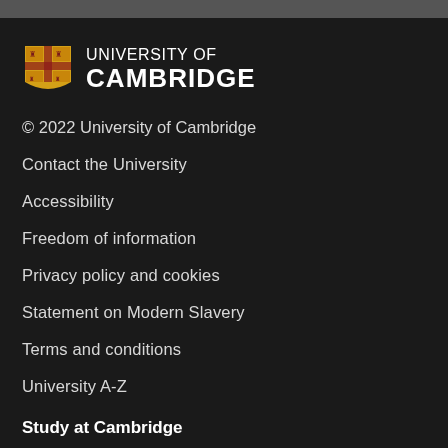[Figure (logo): University of Cambridge shield logo with text UNIVERSITY OF CAMBRIDGE]
© 2022 University of Cambridge
Contact the University
Accessibility
Freedom of information
Privacy policy and cookies
Statement on Modern Slavery
Terms and conditions
University A-Z
Study at Cambridge
Undergraduate